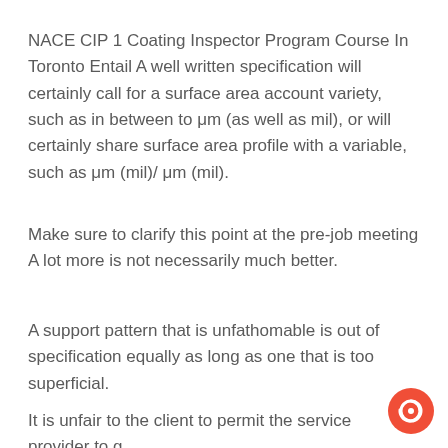NACE CIP 1 Coating Inspector Program Course In Toronto Entail A well written specification will certainly call for a surface area account variety, such as in between to μm (as well as mil), or will certainly share surface area profile with a variable, such as μm (mil)/ μm (mil).
Make sure to clarify this point at the pre-job meeting A lot more is not necessarily much better.
A support pattern that is unfathomable is out of specification equally as long as one that is too superficial.
It is unfair to the client to permit the service provider to g—